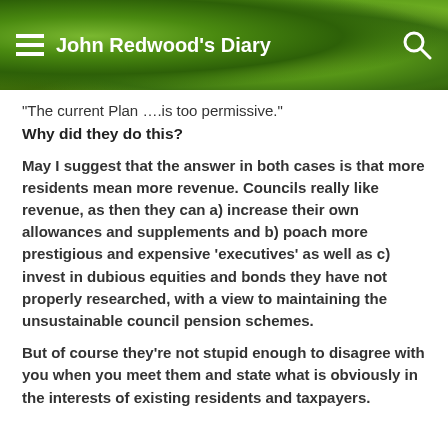John Redwood's Diary
“The current Plan ….is too permissive.”
Why did they do this?
May I suggest that the answer in both cases is that more residents mean more revenue. Councils really like revenue, as then they can a) increase their own allowances and supplements and b) poach more prestigious and expensive ‘executives’ as well as c) invest in dubious equities and bonds they have not properly researched, with a view to maintaining the unsustainable council pension schemes.
But of course they’re not stupid enough to disagree with you when you meet them and state what is obviously in the interests of existing residents and taxpayers.